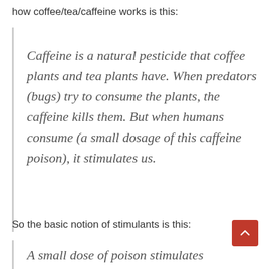how coffee/tea/caffeine works is this:
Caffeine is a natural pesticide that coffee plants and tea plants have. When predators (bugs) try to consume the plants, the caffeine kills them. But when humans consume (a small dosage of this caffeine poison), it stimulates us.
So the basic notion of stimulants is this:
A small dose of poison stimulates